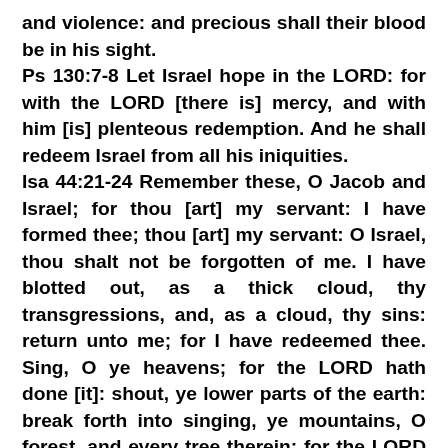and violence: and precious shall their blood be in his sight. Ps 130:7-8 Let Israel hope in the LORD: for with the LORD [there is] mercy, and with him [is] plenteous redemption. And he shall redeem Israel from all his iniquities. Isa 44:21-24 Remember these, O Jacob and Israel; for thou [art] my servant: I have formed thee; thou [art] my servant: O Israel, thou shalt not be forgotten of me. I have blotted out, as a thick cloud, thy transgressions, and, as a cloud, thy sins: return unto me; for I have redeemed thee. Sing, O ye heavens; for the LORD hath done [it]: shout, ye lower parts of the earth: break forth into singing, ye mountains, O forest, and every tree therein: for the LORD hath redeemed Jacob, and glorified himself in Israel. Thus saith the LORD, thy